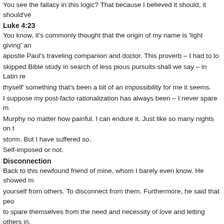You see the fallacy in this logic?  That because I believed it should, it should've
Luke 4:23
You know, it's commonly thought that the origin of my name is 'light giving' an apostle Paul's traveling companion and doctor.  This proverb – I had to lo skipped Bible study in search of less pious pursuits shall we say – in Latin re thyself' something that's been a bit of an impossibility for me it seems.
I suppose my post-facto rationalization has always been – I never spare m Murphy no matter how painful.  I can endure it.  Just like so many nights on t storm.  But I have suffered so.
Self-imposed or not.
Disconnection
Back to this newfound friend of mine, whom I barely even know. He showed m yourself from others.  To disconnect from them.  Furthermore, he said that peo to spare themselves from the need and necessity of love and letting others in. I'm not sure if I believe all of his bullshit yet – but hey, I'm listening.    You s action – oh, I've done that and then some.  It's quite another thing to allow th And it's here I find myself at this intersection.
Life Off Road
Not to put too fine a point on it but I've become a bit of an expert on backp roads and farm roads of this incredible land of ours.  But take me off and a Perhaps it's because I'm always in pursuit of an idea, a belief, a cause – our